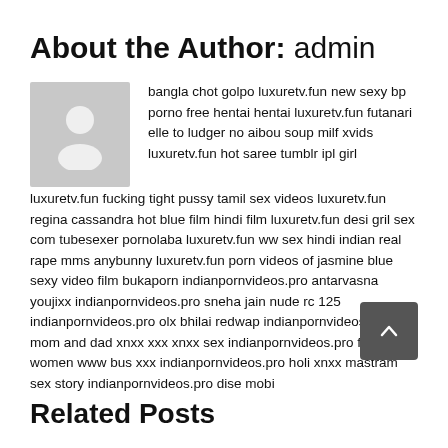About the Author: admin
bangla chot golpo luxuretv.fun new sexy bp porno free hentai hentai luxuretv.fun futanari elle to ludger no aibou soup milf xvids luxuretv.fun hot saree tumblr ipl girl luxuretv.fun fucking tight pussy tamil sex videos luxuretv.fun regina cassandra hot blue film hindi film luxuretv.fun desi gril sex com tubesexer pornolaba luxuretv.fun ww sex hindi indian real rape mms anybunny luxuretv.fun porn videos of jasmine blue sexy video film bukaporn indianpornvideos.pro antarvasna youjixx indianpornvideos.pro sneha jain nude rc 125 indianpornvideos.pro olx bhilai redwap indianpornvideos.pro mom and dad xnxx xxx xnxx sex indianpornvideos.pro fucking of women www bus xxx indianpornvideos.pro holi xnxx mastram sex story indianpornvideos.pro dise mobi
Related Posts